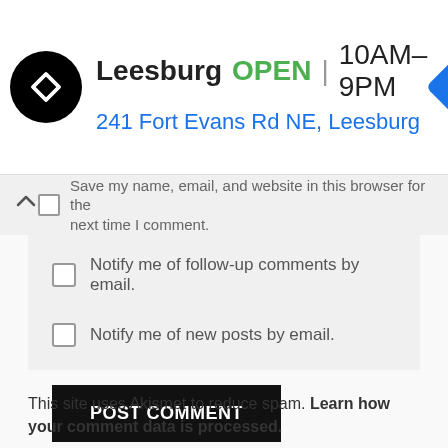[Figure (screenshot): Advertisement banner showing a store named Leesburg with OPEN status, hours 10AM-9PM, address 241 Fort Evans Rd NE, Leesburg, a navigation icon, and a circular logo with arrow symbol]
Save my name, email, and website in this browser for the next time I comment.
Notify me of follow-up comments by email.
Notify me of new posts by email.
POST COMMENT
This site uses Akismet to reduce spam. Learn how your comment data is processed.